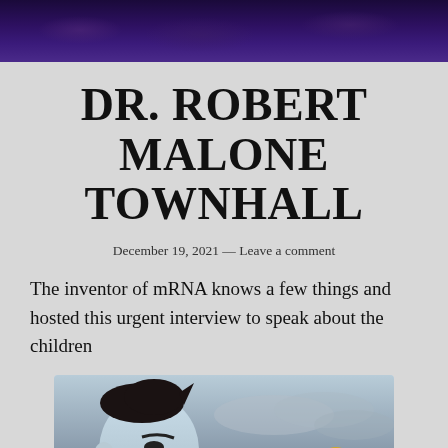[Figure (illustration): Dark purple decorative banner header with swirling pattern]
DR. ROBERT MALONE TOWNHALL
December 19, 2021 — Leave a comment
The inventor of mRNA knows a few things and hosted this urgent interview to speak about the children
[Figure (illustration): Animated-style illustration showing a cartoon man with dark hair in profile view, with a bird figure to the right, against a cloudy sky background]